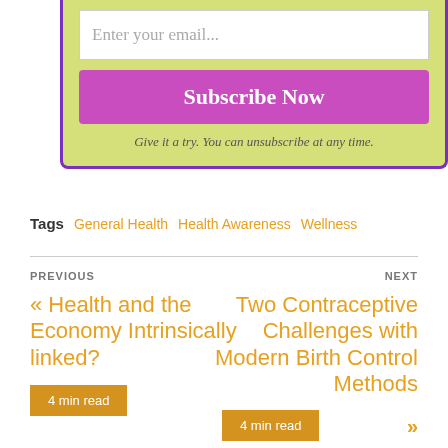[Figure (other): Email subscription box with 'Enter your email...' input field, 'Subscribe Now' purple button, and note 'Give it a try. You can unsubscribe at any time.']
Tags  General Health  Health Awareness  Wellness
PREVIOUS
« Health and the Economy Intrinsically linked?
4 min read
NEXT
Two Contraceptive Challenges with Modern Birth Control Methods
4 min read